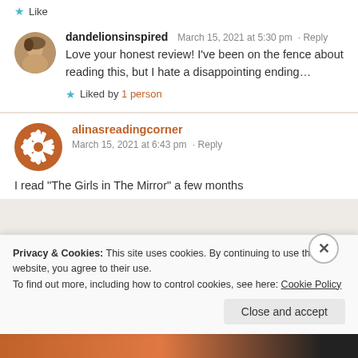★ Like
dandelionsinspired   March 15, 2021 at 5:30 pm · Reply
Love your honest review! I've been on the fence about reading this, but I hate a disappointing ending...
★ Liked by 1 person
alinasreadingcorner
March 15, 2021 at 6:43 pm · Reply
I read "The Girls in The Mirror" a few months
Privacy & Cookies: This site uses cookies. By continuing to use this website, you agree to their use.
To find out more, including how to control cookies, see here: Cookie Policy
Close and accept